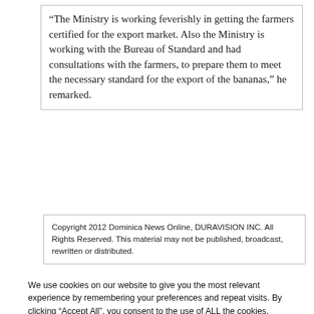“The Ministry is working feverishly in getting the farmers certified for the export market. Also the Ministry is working with the Bureau of Standard and had consultations with the farmers, to prepare them to meet the necessary standard for the export of the bananas,” he remarked.
Copyright 2012 Dominica News Online, DURAVISION INC. All Rights Reserved. This material may not be published, broadcast, rewritten or distributed.
We use cookies on our website to give you the most relevant experience by remembering your preferences and repeat visits. By clicking “Accept All”, you consent to the use of ALL the cookies. However, you may visit "Cookie Settings" to provide a controlled consent. Read More